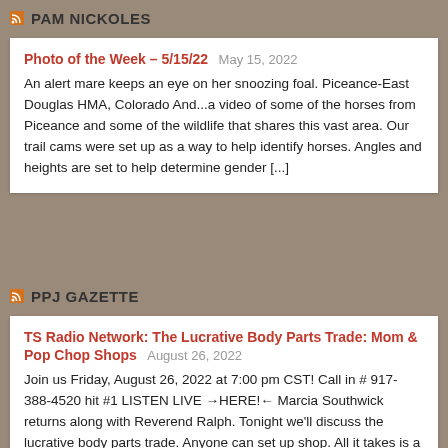PAM NICKOLES
Photo of the Week – 5/15/22
An alert mare keeps an eye on her snoozing foal. Piceance-East Douglas HMA, Colorado And...a video of some of the horses from Piceance and some of the wildlife that shares this vast area. Our trail cams were set up as a way to help identify horses. Angles and heights are set to help determine gender [...]
PPJ GAZETTE
TS Radio Network: The Lucrative Body Parts Trade: Mom & Pop Chop Shops
Join us Friday, August 26, 2022 at 7:00 pm CST! Call in # 917-388-4520 hit #1 LISTEN LIVE →HERE!← Marcia Southwick returns along with Reverend Ralph. Tonight we'll discuss the lucrative body parts trade. Anyone can set up shop. All it takes is a few freezers and a chainsaw. A Tennessee broker sold a cervical [...]